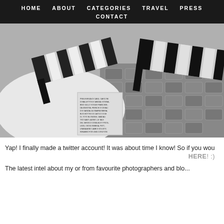HOME  ABOUT  CATEGORIES  TRAVEL  PRESS  CONTACT
[Figure (photo): Black and white photo of zebra-print high heeled shoes/boots lying on a cobblestone surface, with a magazine page visible in the lower left corner]
Yap! I finally made a twitter account! It was about time I know! So if you wou
HERE! :)
The latest intel about my or from favourite photographers and blo...